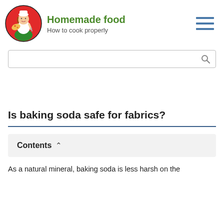[Figure (logo): Circular logo with a cartoon female chef in white uniform holding a pizza, on a red background]
Homemade food
How to cook properly
[Figure (other): Hamburger menu icon with three horizontal blue lines]
[Figure (other): Search bar with magnifying glass icon]
Is baking soda safe for fabrics?
Contents
As a natural mineral, baking soda is less harsh on the